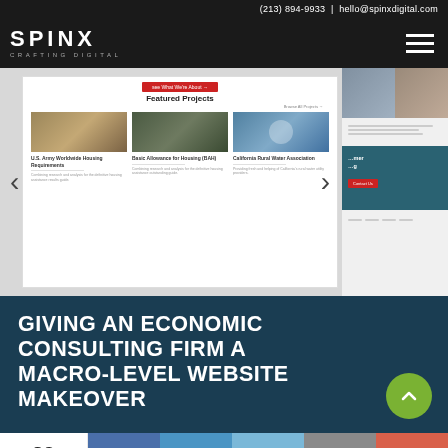(213) 894-9933 | hello@spinxdigital.com
[Figure (screenshot): SPINX Digital website navigation bar with logo and hamburger menu on dark background]
[Figure (screenshot): Website portfolio screenshot showing Featured Projects carousel with US Army, Basic Allowance for Housing, and California Rural Water Association projects, with navigation arrows and a partial right-side panel]
GIVING AN ECONOMIC CONSULTING FIRM A MACRO-LEVEL WEBSITE MAKEOVER
29 SHARES
f in Twitter Email +